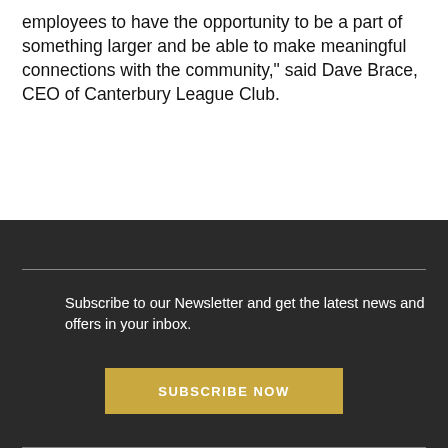employees to have the opportunity to be a part of something larger and be able to make meaningful connections with the community," said Dave Brace, CEO of Canterbury League Club.
Subscribe to our Newsletter and get the latest news and offers in your inbox.
SUBSCRIBE NOW